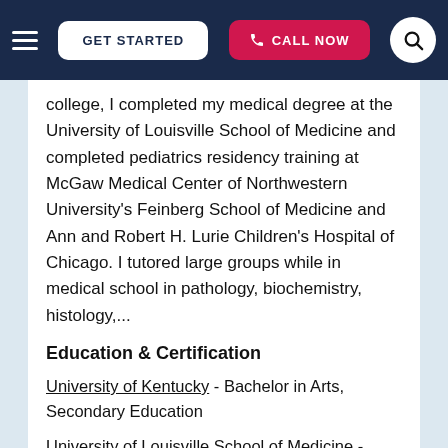GET STARTED | CALL NOW
college, I completed my medical degree at the University of Louisville School of Medicine and completed pediatrics residency training at McGaw Medical Center of Northwestern University's Feinberg School of Medicine and Ann and Robert H. Lurie Children's Hospital of Chicago. I tutored large groups while in medical school in pathology, biochemistry, histology,...
Education & Certification
University of Kentucky - Bachelor in Arts, Secondary Education
University of Louisville School of Medicine - Doctor of Medicine, Medicine